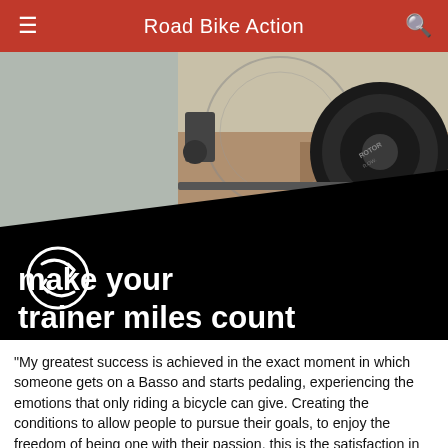Road Bike Action
[Figure (photo): Advertisement image showing close-up of a road bike drivetrain with Rotor power meter crankset and chain, overlaid with black diagonal banner and text 'make your trainer miles count' with a Rotor logo]
“My greatest success is achieved in the exact moment in which someone gets on a Basso and starts pedaling, experiencing the emotions that only riding a bicycle can give. Creating the conditions to allow people to pursue their goals, to enjoy the freedom of being one with their passion, this is the satisfaction in what we do. A body, a bike, the immensity of the world to be explored one ride after another.”